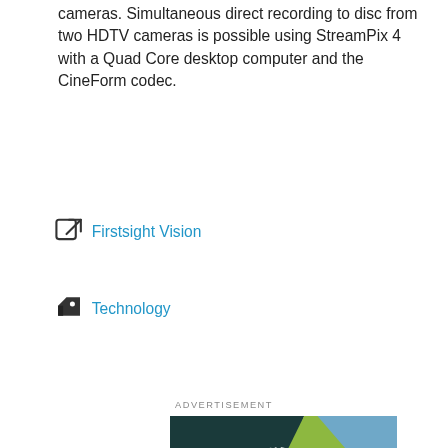cameras. Simultaneous direct recording to disc from two HDTV cameras is possible using StreamPix 4 with a Quad Core desktop computer and the CineForm codec.
Firstsight Vision
Technology
ADVERTISEMENT
[Figure (logo): Frankfurt Laser Company advertisement banner with circular pie-chart logo in red, green, yellow sections on dark background with blue and yellow-green geometric shapes and 'FRANKFURT LASER COMPANY' text]
ADVERTISEMENT
[Figure (photo): Go-X Series camera advertisement with dark background, green camera product image, text 'The Go-X Series is expanding!']